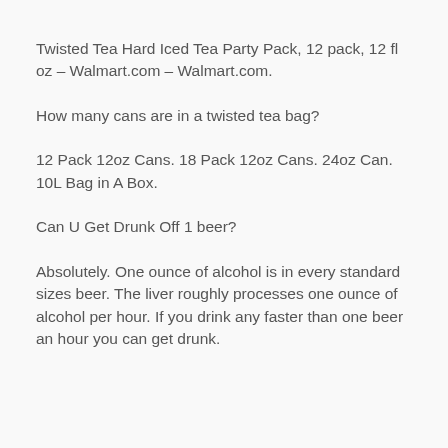Twisted Tea Hard Iced Tea Party Pack, 12 pack, 12 fl oz – Walmart.com – Walmart.com.
How many cans are in a twisted tea bag?
12 Pack 12oz Cans. 18 Pack 12oz Cans. 24oz Can. 10L Bag in A Box.
Can U Get Drunk Off 1 beer?
Absolutely. One ounce of alcohol is in every standard sizes beer. The liver roughly processes one ounce of alcohol per hour. If you drink any faster than one beer an hour you can get drunk.